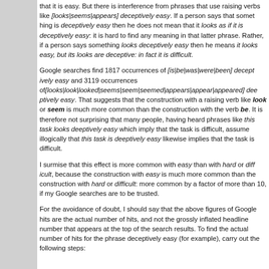that it is easy. But there is interference from phrases that use raising verbs like [looks|seems|appears] deceptively easy. If a person says that something is deceptively easy then he does not mean that it looks as if it is deceptively easy: it is hard to find any meaning in that latter phrase. Rather, if a person says something looks deceptively easy then he means it looks easy, but its looks are deceptive: in fact it is difficult.
Google searches find 1817 occurrences of [is|be|was|were|been] deceptively easy and 3119 occurrences of[looks|look|looked|seems|seem|seemed|appears|appear|appeared] deceptively easy. That suggests that the construction with a raising verb like look or seem is much more common than the construction with the verb be. It is therefore not surprising that many people, having heard phrases like this task looks deceptively easy which imply that the task is difficult, assume illogically that this task is deceptively easy likewise implies that the task is difficult.
I surmise that this effect is more common with easy than with hard or difficult, because the construction with easy is much more common than the construction with hard or difficult: more common by a factor of more than 10, if my Google searches are to be trusted.
For the avoidance of doubt, I should say that the above figures of Google hits are the actual number of hits, and not the grossly inflated headline number that appears at the top of the search results. To find the actual number of hits for the phrase deceptively easy (for example), carry out the following steps: